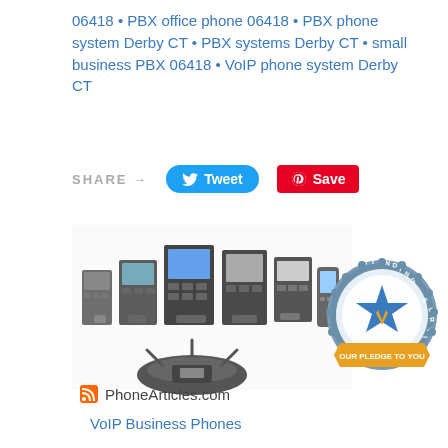06418 • PBX office phone 06418 • PBX phone system Derby CT • PBX systems Derby CT • small business PBX 06418 • VoIP phone system Derby CT
[Figure (other): Share bar with SHARE → label, Tweet button (Twitter bird icon, blue pill), and Save button (Pinterest icon, red rectangle)]
[Figure (photo): Collection of Cisco IP desk phones and a conference phone on the left, and an 'Outstanding Customer Service - Our Pledge To You' badge/seal on the right]
PhoneArticles.com
VoIP Business Phones